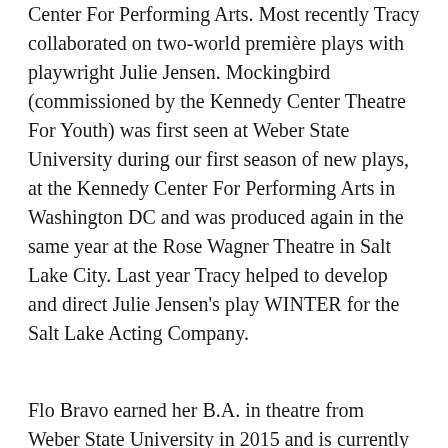Center For Performing Arts. Most recently Tracy collaborated on two-world première plays with playwright Julie Jensen. Mockingbird (commissioned by the Kennedy Center Theatre For Youth) was first seen at Weber State University during our first season of new plays, at the Kennedy Center For Performing Arts in Washington DC and was produced again in the same year at the Rose Wagner Theatre in Salt Lake City. Last year Tracy helped to develop and direct Julie Jensen's play WINTER for the Salt Lake Acting Company.
Flo Bravo earned her B.A. in theatre from Weber State University in 2015 and is currently pursuing freelance work in Utah.  Recently, she had the opportunity to workshop new plays as part of Salt Lake Acting Company's annual Playwrights' Lab.  Her WSU acting